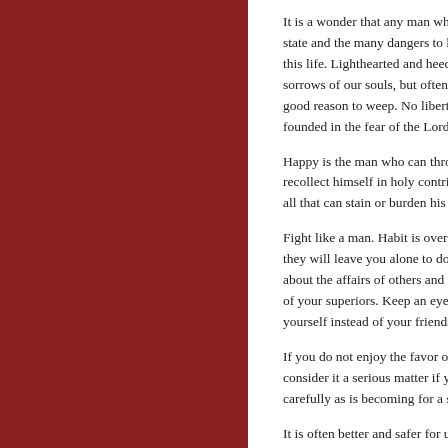[Figure (other): Dark red decorative sidebar panel on the left side of the page]
It is a wonder that any man who considers his state and the many dangers to his soul, can enjoy this life. Lighthearted and heedless of our faults, sorrows of our souls, but often indulge in things good reason to weep. No liberty is true and founded in the fear of the Lord and a goo
Happy is the man who can throw off the w recollect himself in holy contrition. Happy all that can stain or burden his conscience
Fight like a man. Habit is overcome by ha they will leave you alone to do what you h about the affairs of others and do not bec of your superiors. Keep an eye primarily c yourself instead of your friends.
If you do not enjoy the favor of men, do n consider it a serious matter if you do not c carefully as is becoming for a servant of G
It is often better and safer for us to have f especially comforts of the body. Yet if we or experience it rarely, it is our own fault b heart and do not forsake vain outward sa
Consider yourself unworthy of divine sola much tribulation. When a man is perfectly bitter and wearisome to him.
A good man always finds enough over wh whether he thinks of himself or of his neig lives here without suffering, and the close he grieves.
The sins and vices in which we are so em ourselves to the contemplation of heaven